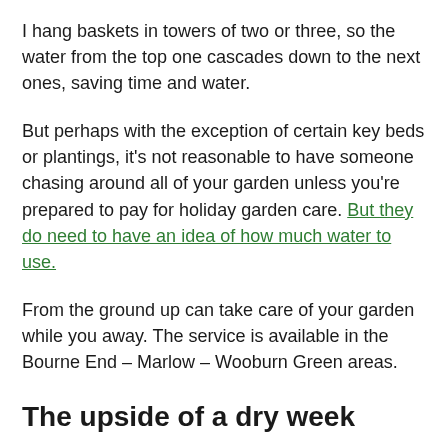I hang baskets in towers of two or three, so the water from the top one cascades down to the next ones, saving time and water.
But perhaps with the exception of certain key beds or plantings, it’s not reasonable to have someone chasing around all of your garden unless you’re prepared to pay for holiday garden care. But they do need to have an idea of how much water to use.
From the ground up can take care of your garden while you away. The service is available in the Bourne End – Marlow – Wooburn Green areas.
The upside of a dry week
A dry week or two will show you where plants are vulnerable. Therefore you’ll know where to direct your attention as far as improving the moisture retention in the soil. You may also think…